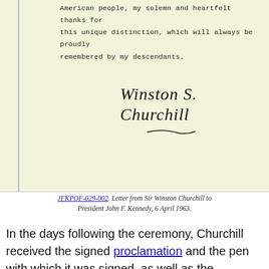[Figure (photo): Scanned letter document on cream/ivory paper with typewritten text and handwritten signature of Winston S. Churchill. The visible text reads: 'American people, my solemn and heartfelt thanks for this unique distinction, which will always be proudly remembered by my descendants.' followed by the cursive signature 'Winston S. Churchill' with a curved underline.]
JFKPOF-029-002. Letter from Sir Winston Churchill to President John F. Kennedy, 6 April 1963.
In the days following the ceremony, Churchill received the signed proclamation and the pen with which it was signed, as well as the signatures of those present at the ceremony. In